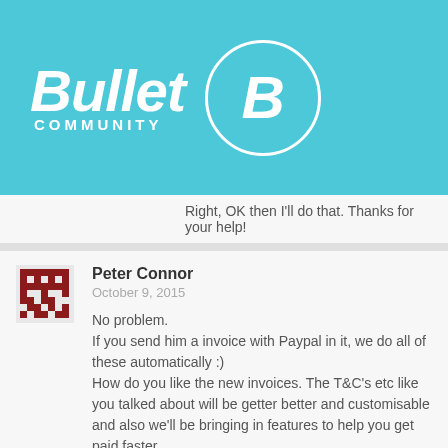[Figure (logo): Bullet Community logo with teal background, white cursive 'Bullet' text, 'COMMUNITY' in uppercase, and a circle with 'B' letter]
Right, OK then I'll do that. Thanks for your help!
Peter Connor
October 9, 2015

No problem.
If you send him a invoice with Paypal in it, we do all of these automatically :)
How do you like the new invoices. The T&C's etc like you talked about will be getter better and customisable and also we'll be bringing in features to help you get paid faster.
Pete
Scarlet
October 9, 2015

I didn't plan on getting paid that way, bank transfers are